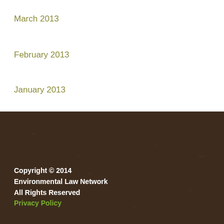March 2013
February 2013
January 2013
Copyright © 2014 Environmental Law Network All Rights Reserved Privacy Policy